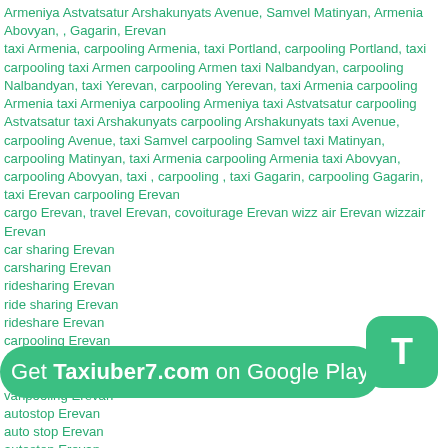Armeniya Astvatsatur Arshakunyats Avenue, Samvel Matinyan, Armenia Abovyan, , Gagarin, Erevan
taxi Armenia, carpooling Armenia, taxi Portland, carpooling Portland, taxi carpooling taxi Armen carpooling Armen taxi Nalbandyan, carpooling Nalbandyan, taxi Yerevan, carpooling Yerevan, taxi Armenia carpooling Armenia taxi Armeniya carpooling Armeniya taxi Astvatsatur carpooling Astvatsatur taxi Arshakunyats carpooling Arshakunyats taxi Avenue, carpooling Avenue, taxi Samvel carpooling Samvel taxi Matinyan, carpooling Matinyan, taxi Armenia carpooling Armenia taxi Abovyan, carpooling Abovyan, taxi , carpooling , taxi Gagarin, carpooling Gagarin, taxi Erevan carpooling Erevan
cargo Erevan, travel Erevan, covoiturage Erevan wizz air Erevan wizzair Erevan
car sharing Erevan
carsharing Erevan
ridesharing Erevan
ride sharing Erevan
rideshare Erevan
carpooling Erevan
carpool Erevan
car pool Erevan
vanpooling Erevan
autostop Erevan
auto stop Erevan
autostop Erevan
[Figure (other): Green rounded rectangle banner with white text: Get Taxiuber7.com on Google Play]
[Figure (other): Green rounded square button with white letter T]